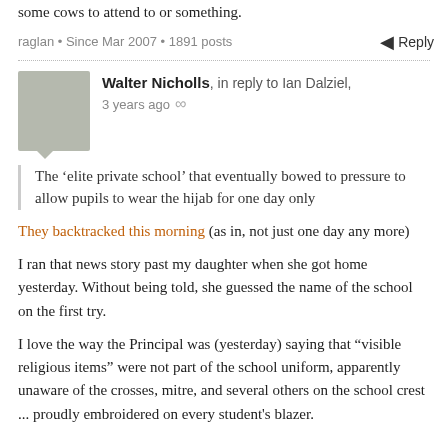some cows to attend to or something.
raglan • Since Mar 2007 • 1891 posts
Reply
Walter Nicholls, in reply to Ian Dalziel, 3 years ago
The ‘elite private school’ that eventually bowed to pressure to allow pupils to wear the hijab for one day only
They backtracked this morning (as in, not just one day any more)
I ran that news story past my daughter when she got home yesterday. Without being told, she guessed the name of the school on the first try.
I love the way the Principal was (yesterday) saying that “visible religious items” were not part of the school uniform, apparently unaware of the crosses, mitre, and several others on the school crest ... proudly embroidered on every student's blazer.
I don’t recall seeing what the previous...